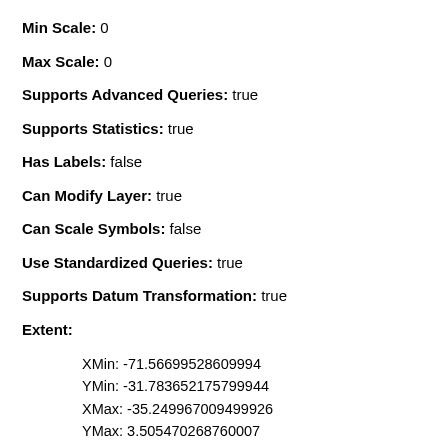Min Scale: 0
Max Scale: 0
Supports Advanced Queries: true
Supports Statistics: true
Has Labels: false
Can Modify Layer: true
Can Scale Symbols: false
Use Standardized Queries: true
Supports Datum Transformation: true
Extent:
XMin: -71.56699528609994
YMin: -31.783652175799944
XMax: -35.249967009499926
YMax: 3.505470268760007
Spatial Reference: 4674  (4674)